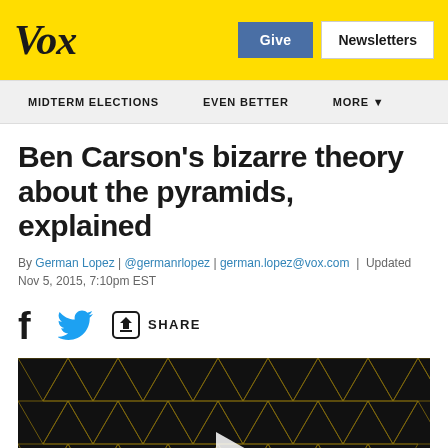Vox
MIDTERM ELECTIONS | EVEN BETTER | MORE
Ben Carson's bizarre theory about the pyramids, explained
By German Lopez | @germanrlopez | german.lopez@vox.com | Updated Nov 5, 2015, 7:10pm EST
[Figure (screenshot): Social sharing icons: Facebook, Twitter, and a Share button]
[Figure (photo): Dark geometric/pyramid pattern video thumbnail with a play button in the center]